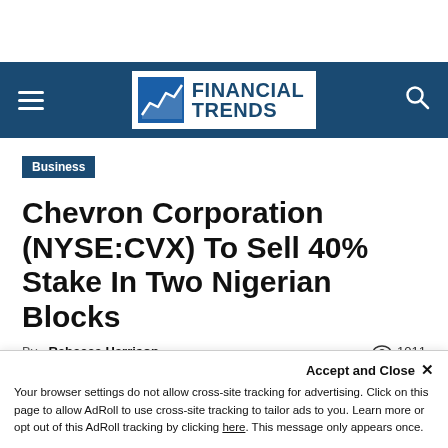FINANCIAL TRENDS
Business
Chevron Corporation (NYSE:CVX) To Sell 40% Stake In Two Nigerian Blocks
By Rebecca Harrison - 1011 views
Accept and Close ✕ Your browser settings do not allow cross-site tracking for advertising. Click on this page to allow AdRoll to use cross-site tracking to tailor ads to you. Learn more or opt out of this AdRoll tracking by clicking here. This message only appears once.